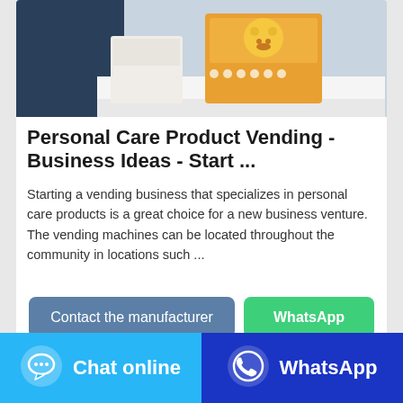[Figure (photo): Product image showing personal care items including a box of diapers with a cartoon bear character and what appears to be tissue/hygiene products on a surface with a blue background]
Personal Care Product Vending - Business Ideas - Start ...
Starting a vending business that specializes in personal care products is a great choice for a new business venture. The vending machines can be located throughout the community in locations such ...
Contact the manufacturer
WhatsApp
Chat online
WhatsApp